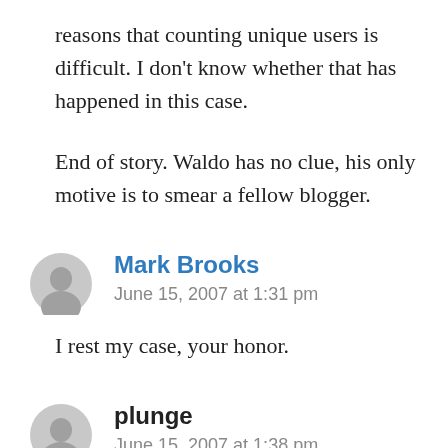reasons that counting unique users is difficult. I don't know whether that has happened in this case.
End of story. Waldo has no clue, his only motive is to smear a fellow blogger.
Mark Brooks
June 15, 2007 at 1:31 pm
I rest my case, your honor.
plunge
June 15, 2007 at 1:38 pm